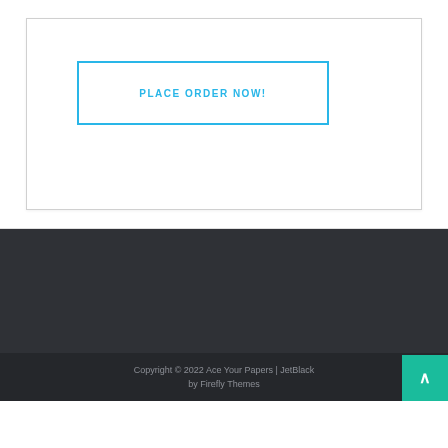PLACE ORDER NOW!
Copyright © 2022 Ace Your Papers | JetBlack by Firefly Themes